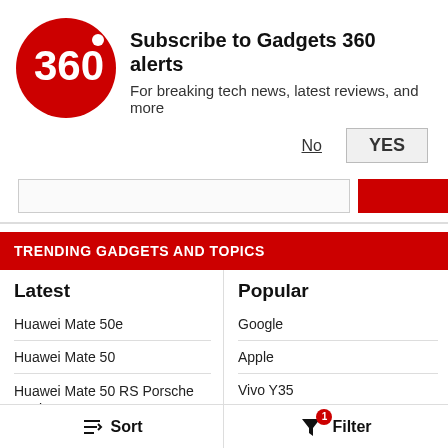[Figure (logo): Gadgets 360 circular red logo with '360' text]
Subscribe to Gadgets 360 alerts
For breaking tech news, latest reviews, and more
No   YES
TRENDING GADGETS AND TOPICS
Latest
Huawei Mate 50e
Huawei Mate 50
Huawei Mate 50 RS Porsche Design
Huawei Mate 50 Pro
Vivo Y22s
Honor 70 5G
Popular
Google
Apple
Vivo Y35
Ola S1 Electric Scooter
Anker 737
Samsung Galaxy
Sort
1 Filter